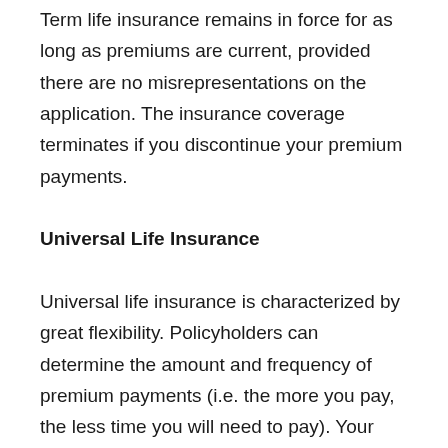Term life insurance remains in force for as long as premiums are current, provided there are no misrepresentations on the application. The insurance coverage terminates if you discontinue your premium payments.
Universal Life Insurance
Universal life insurance is characterized by great flexibility. Policyholders can determine the amount and frequency of premium payments (i.e. the more you pay, the less time you will need to pay). Your premiums cover the insurance part, as well as the savings or investment element and the expense part. The stated interest on the investment portion changes